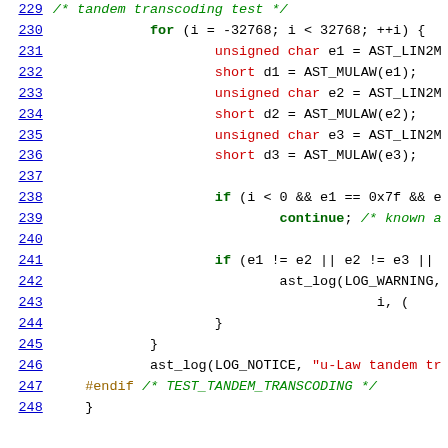[Figure (screenshot): Source code listing showing C code lines 229-248 with syntax highlighting. Line numbers in blue on left, code in monospace font with keywords in green/bold, strings in red, comments in green italic, type names in red.]